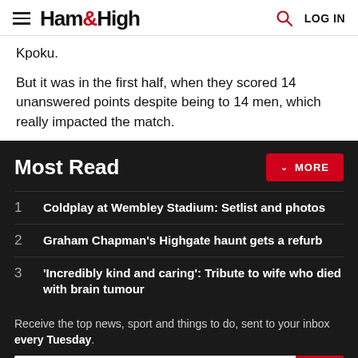Ham&High — LOG IN
Kpoku.
But it was in the first half, when they scored 14 unanswered points despite being to 14 men, which really impacted the match.
Most Read
1  Coldplay at Wembley Stadium: Setlist and photos
2  Graham Chapman's Highgate haunt gets a refurb
3  'Incredibly kind and caring': Tribute to wife who died with brain tumour
Receive the top news, sport and things to do, sent to your inbox every Tuesday.